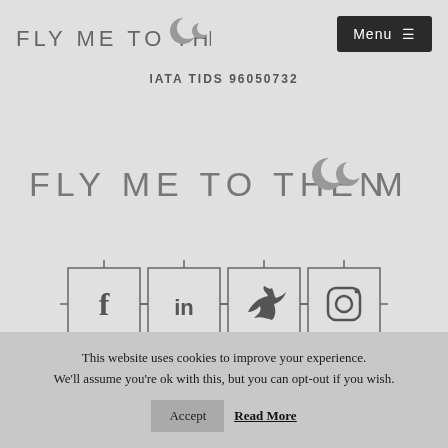[Figure (logo): Fly Me to the Moon logo with crescent moon icon, small version in header]
[Figure (screenshot): Menu button with hamburger icon, dark background]
IATA TIDS 96050732
[Figure (logo): Fly Me to the Moon logo, large centered version]
[Figure (infographic): Social media icons row: Facebook, LinkedIn, Twitter, Instagram — each in a square frame with crosshair corner marks]
This website uses cookies to improve your experience. We'll assume you're ok with this, but you can opt-out if you wish.
Accept
Read More